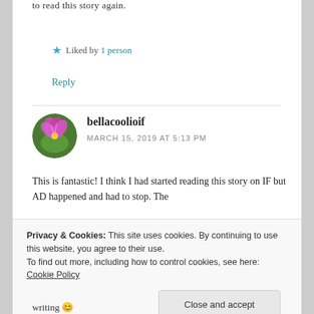to read this story again.
★ Liked by 1 person
Reply
bellacoolioif
MARCH 15, 2019 AT 5:13 PM
This is fantastic! I think I had started reading this story on IF but AD happened and had to stop. The
Privacy & Cookies: This site uses cookies. By continuing to use this website, you agree to their use.
To find out more, including how to control cookies, see here: Cookie Policy
Close and accept
writing 😊